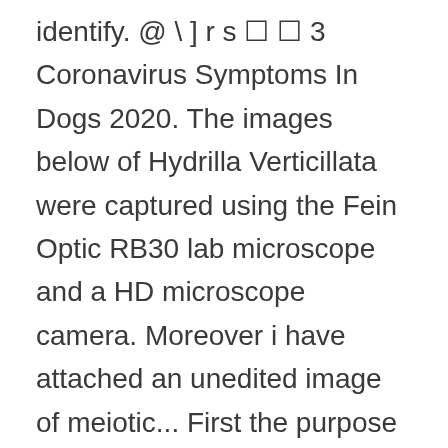identify. @ \ ] r s ☐ ☐ 3 Coronavirus Symptoms In Dogs 2020. The images below of Hydrilla Verticillata were captured using the Fein Optic RB30 lab microscope and a HD microscope camera. Moreover i have attached an unedited image of meiotic... First the purpose of a microscope is to magnify a small object or to magnify the fine details of a. Normal onion cells are clear (or white) but the ones pictured are orange due to the iodine stain. Hydrilla Verticillata captured under the microscope at 100x. Plant Leaf Cell Under Microscope. Learn the structure of animal cell and plant cell under light microscope. Draw the outline of a few starch grains as seen under HR (at least 5cm in